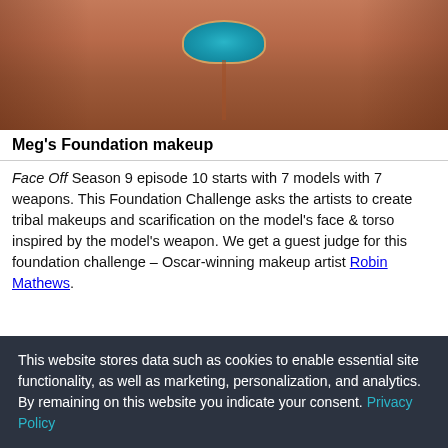[Figure (photo): Close-up of a tribal makeup on a model's face and torso with turquoise necklace jewelry and body paint on skin-toned background]
Meg's Foundation makeup
Face Off Season 9 episode 10 starts with 7 models with 7 weapons. This Foundation Challenge asks the artists to create tribal makeups and scarification on the model's face & torso inspired by the model's weapon. We get a guest judge for this foundation challenge – Oscar-winning makeup artist Robin Mathews.
[Figure (photo): Four thumbnail photos showing various models with tribal/Halloween-style makeup and costumes from Face Off Season 9]
This website stores data such as cookies to enable essential site functionality, as well as marketing, personalization, and analytics. By remaining on this website you indicate your consent. Privacy Policy